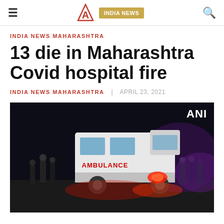INDIA NEWS
INDIA NEWS MAHARASHTRA
13 die in Maharashtra Covid hospital fire
INDIA NEWS MAHARASHTRA   APRIL 23, 2021
[Figure (photo): Night scene with an ambulance at the site of a hospital fire, with people standing around. ANI watermark visible in top right corner.]